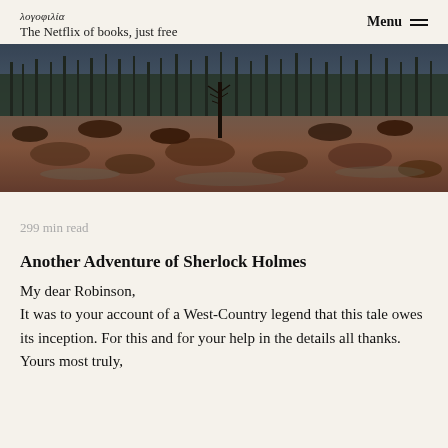λογοφιλία
The Netflix of books, just free
Menu
[Figure (photo): Landscape photograph of a moorland or boggy field with a lone bare tree, surrounded by scrubby vegetation and water reflections, with a dense forest of tall trees in the background, in dark, muted tones of brown and blue-grey.]
299 min read
Another Adventure of Sherlock Holmes
My dear Robinson,
It was to your account of a West-Country legend that this tale owes its inception. For this and for your help in the details all thanks.
Yours most truly,